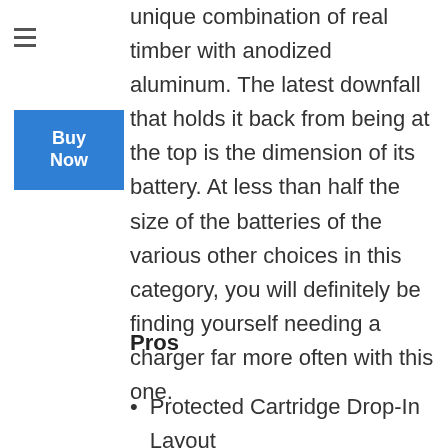unique combination of real timber with anodized aluminum. The latest downfall that holds it back from being at the top is the dimension of its battery. At less than half the size of the batteries of the various other choices in this category, you will definitely be finding yourself needing a charger far more often with this one.
Pros
Protected Cartridge Drop-In Layout